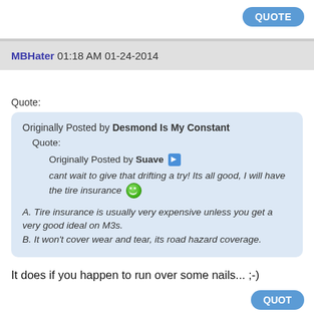QUOTE
MBHater 01:18 AM 01-24-2014
Quote:
Originally Posted by Desmond Is My Constant
Quote:
Originally Posted by Suave
cant wait to give that drifting a try! Its all good, I will have the tire insurance
A. Tire insurance is usually very expensive unless you get a very good ideal on M3s.
B. It won't cover wear and tear, its road hazard coverage.
It does if you happen to run over some nails... ;-)